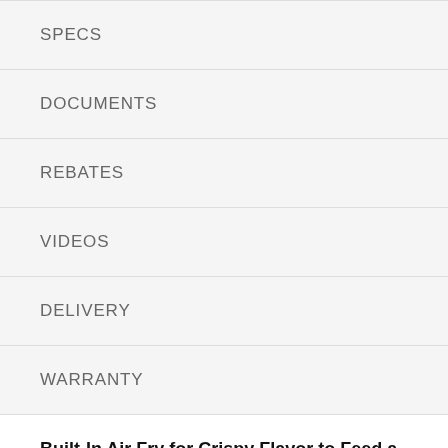SPECS
DOCUMENTS
REBATES
VIDEOS
DELIVERY
WARRANTY
Built-In Air Fry for Crispy Flavor to Feed a Crowd
Make fries, hot wings & more with no preheating or need for another gadget taking up counter space.*
Keep Your Oven Looking Like New